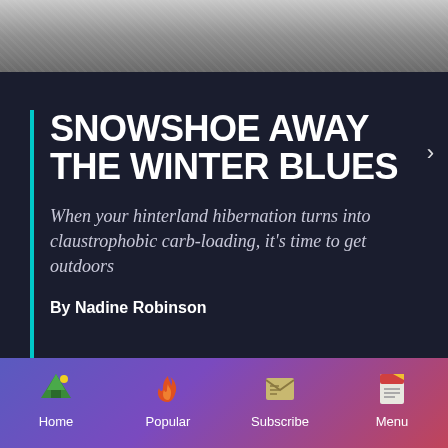[Figure (photo): Grainy winter outdoor background photo at top of page]
SNOWSHOE AWAY THE WINTER BLUES
When your hinterland hibernation turns into claustrophobic carb-loading, it's time to get outdoors
By Nadine Robinson
[Figure (photo): Blurred outdoor greenery photo in lower section]
Home  Popular  Subscribe  Menu